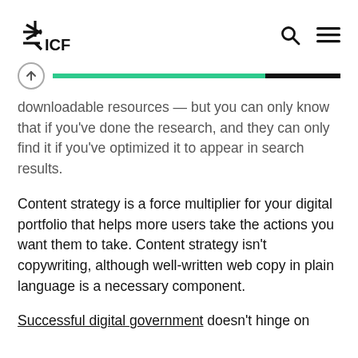ICF logo, search icon, menu icon
[Figure (infographic): Progress bar with up-arrow button on left, green fill ~74% and black fill ~26% on right]
downloadable resources — but you can only know that if you've done the research, and they can only find it if you've optimized it to appear in search results.
Content strategy is a force multiplier for your digital portfolio that helps more users take the actions you want them to take. Content strategy isn't copywriting, although well-written web copy in plain language is a necessary component.
Successful digital government doesn't hinge on [clipped text continues below]